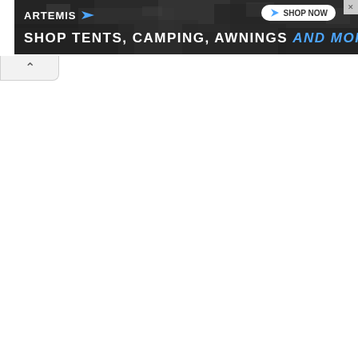[Figure (screenshot): Artemis outdoor gear advertisement banner with dark rocky/forest background. Shows ARTEMIS logo with blue arrow on left, SHOP NOW button on top right, and main text 'SHOP TENTS, CAMPING, AWNINGS AND MORE' in white and blue bold text.]
^